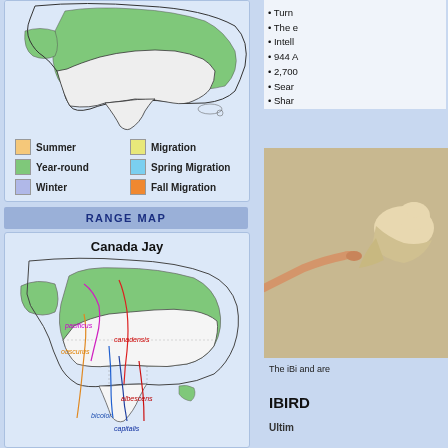[Figure (map): North America map showing bird range with color-coded seasonal areas]
Legend: Summer, Migration, Year-round, Spring Migration, Winter, Fall Migration
RANGE MAP
[Figure (map): Canada Jay range map showing subspecies boundaries: pacificus, canadensis, obscurus, albescens, bicolor, capitalis]
Turn
The e
Intell
944 A
2,700
Sear
Shar
The iBi and are
IBIRD
Ultim